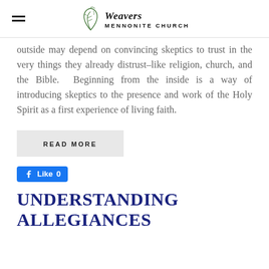Weavers MENNONITE CHURCH
outside may depend on convincing skeptics to trust in the very things they already distrust–like religion, church, and the Bible. Beginning from the inside is a way of introducing skeptics to the presence and work of the Holy Spirit as a first experience of living faith.
READ MORE
Like 0
UNDERSTANDING ALLEGIANCES